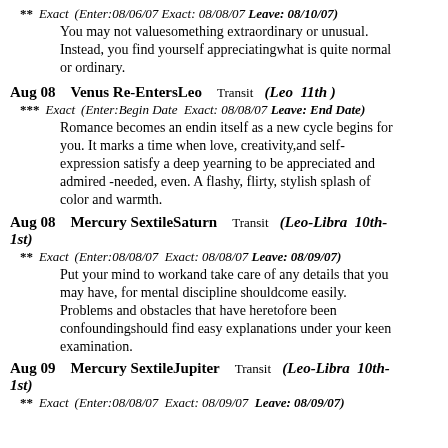** Exact (Enter:08/06/07 Exact: 08/08/07 Leave: 08/10/07) You may not valuesomething extraordinary or unusual. Instead, you find yourself appreciatingwhat is quite normal or ordinary.
Aug 08 Venus Re-EntersLeo Transit (Leo 11th)
*** Exact (Enter:Begin Date Exact: 08/08/07 Leave: End Date) Romance becomes an endin itself as a new cycle begins for you. It marks a time when love, creativity,and self-expression satisfy a deep yearning to be appreciated and admired -needed, even. A flashy, flirty, stylish splash of color and warmth.
Aug 08 Mercury SextileSaturn Transit (Leo-Libra 10th-1st)
** Exact (Enter:08/08/07 Exact: 08/08/07 Leave: 08/09/07) Put your mind to workand take care of any details that you may have, for mental discipline shouldcome easily. Problems and obstacles that have heretofore been confoundingshould find easy explanations under your keen examination.
Aug 09 Mercury SextileJupiter Transit (Leo-Libra 10th-1st)
** Exact (Enter:08/08/07 Exact: 08/09/07 Leave: 08/09/07)